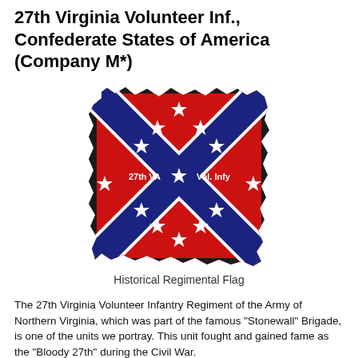27th Virginia Volunteer Inf., Confederate States of America (Company M*)
[Figure (illustration): Historical Confederate Battle Flag (Southern Cross) with blue X-shaped cross bearing 13 white stars on red field, labeled '27th VA' on left and 'Vol. Infy' on right, styled with torn/worn edges]
Historical Regimental Flag
The 27th Virginia Volunteer Infantry Regiment of the Army of Northern Virginia, which was part of the famous "Stonewall" Brigade, is one of the units we portray. This unit fought and gained fame as the "Bloody 27th" during the Civil War.
Battle honors included: 1st Manassas, Romney, 1862 Valley Campaign,